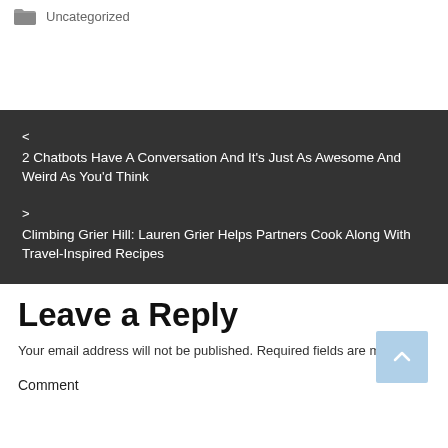Uncategorized
< 2 Chatbots Have A Conversation And It's Just As Awesome And Weird As You'd Think
> Climbing Grier Hill: Lauren Grier Helps Partners Cook Along With Travel-Inspired Recipes
Leave a Reply
Your email address will not be published. Required fields are marked *
Comment